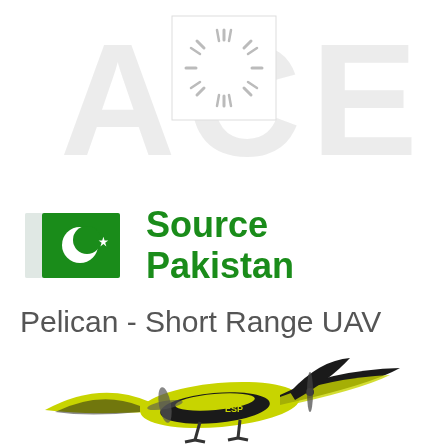[Figure (logo): Faded watermark text and loading spinner icon at top of page]
[Figure (logo): Source Pakistan logo with Pakistani flag and green bold text 'Source Pakistan']
Pelican - Short Range UAV
[Figure (photo): Yellow and black Pelican short range UAV aircraft model, with swept wings and propeller, labeled ESP, on white background]